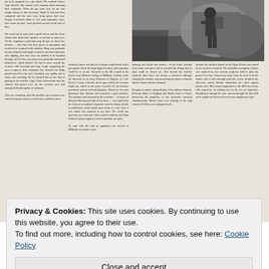ors to be prepared for a gas attack. The medical officer, Capt. Russell, also warned each company about damping their respirators. When the gas came over no one was caught asleep, as that morning's Stand To had just been completed and the men were being given their rum. Despite Loveland's shout of 'Get your respirators, boys, here comes the gas!', most got them on only in the nick of time. The wind was to more than a gentle breeze and the dense clouds took about three quarters of an hour to pass over. Yet the respirators would only stop the gas for about five minutes — they then lost their power of absorption and needed to be resoaked in the solution. Many men gradually became stupefied and forgot to squeeze out their respirators after dipping, thus they were too sodden to be breathed through, and To this way many men practically suffocated themselves', stated Russell. He had to move around the trenches with Loveland and Capt. Leahy compelling the men to squeeze their respirators dry. Russell was badly gassed men blu in the face, breathing very rapidly and in many cases vomiting. Yet he reported that no one died of gassing in the trenches. Capt. Leahy claimed that after the chlorine had passed over the fire trenches were still strongly held and capable of resistance. This was a handicap when the primitive gas measures were carried out pretty much as well as they could have been.
[Figure (photo): Black and white photograph showing a soldier in a trench or rocky area, appearing to wear or handle gas defence equipment.]
chemical experts was that the Germans would attack with a gas against which the lmpa-dipped helmets and respirators would be of no use. Research in the UK centred at the Royal Army Medical College at Millbank, London, under the direction of an Army Professor of Hygiene, Lt. Col. Perry S. Lelean. From the list of gases which the Germans might use, which at one point exceeded 70, two became prominent: prussic acid and phosgene. Both were far more poisonous than chlorine and presented a great problem. The solution most favoured by the scientists — of layers of different filtering materials in box form — was rejected by the Army as too radical a departure from the design already in production, which would cause delay at a time when a new attack was expected at any time. The result was therefore for a chemical which could be added to the Hypo Helmet to protect against a host of potential war gases. To cope with this task an apparatus was devised at Millbank to simulate a man
inhaling and slowly but mea-bre... In the lethal chamber itself many send gases had so corroded the fittings that no light could be turned on... But beyond the heavily-curtained door there was always a ter-rorised colleague counting the minutes, and ascertaining by drums or knocks that the inmate had not collapsed. Keeping in contact independently of the military channels, Professor Baker in England and Moran Jones in France discovered the properties of one protective chemical simultaneously. Moran Jones was working in the high school at St Omer, now equipped as the...
because the woollen flannel of the Hypo Helmet was ruined by the corrosive chemical. The unreliable rectangular window was replaced by two circular eyepieces held in place by pressed tin rims. Controversy arose from the need to fit the helmet with a valve through which the wearer breathed out, otherwise carbon dioxide diminished the effect against prussic acid. This aroused opposition in the BEF from those with experience of training men in the use of respirators. Breathing in through the nose and out through the tube held in the mouth was believed to be far too complicated a pro-
Privacy & Cookies: This site uses cookies. By continuing to use this website, you agree to their use.
To find out more, including how to control cookies, see here: Cookie Policy
Close and accept